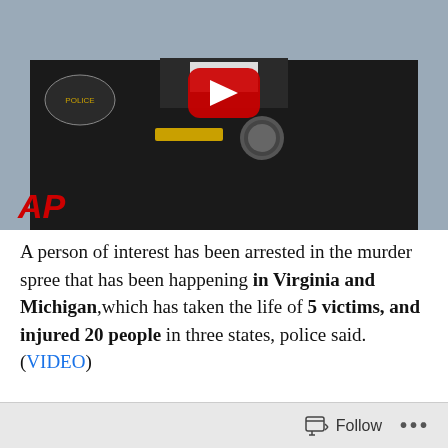[Figure (photo): Video thumbnail showing a police officer in black uniform with a red YouTube play button overlay. AP logo visible in bottom left corner.]
A person of interest has been arrested in the murder spree that has been happening in Virginia and Michigan,which has taken the life of 5 victims, and injured 20 people in three states, police said.(VIDEO)
[Figure (illustration): Police sketch/composite drawing of a suspect wearing a cap, showing face and head from roughly neck up.]
Follow ...